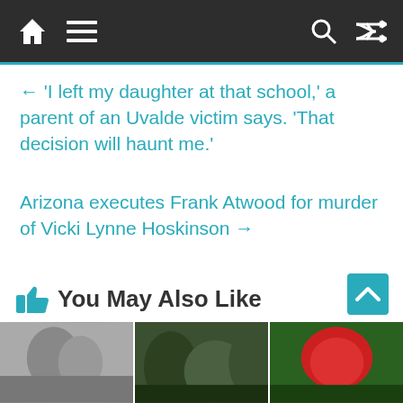Navigation bar with home, menu, search, and shuffle icons
← ‘I left my daughter at that school,’ a parent of an Uvalde victim says. ‘That decision will haunt me.’
Arizona executes Frank Atwood for murder of Vicki Lynne Hoskinson →
You May Also Like
[Figure (photo): Three small thumbnail images at bottom of page: black and white photo, dark green military/nature scene, red and green image]